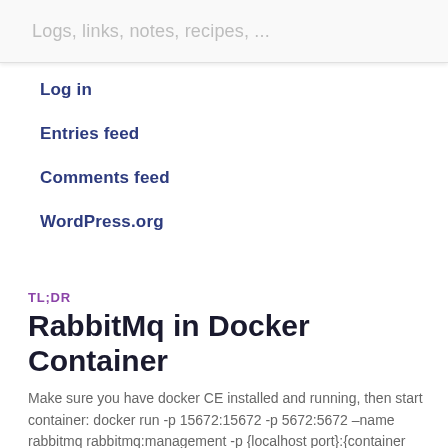Logs, links, notes, recipes, ...
Log in
Entries feed
Comments feed
WordPress.org
TL;DR
RabbitMq in Docker Container
Make sure you have docker CE installed and running, then start container: docker run -p 15672:15672 -p 5672:5672 –name rabbitmq rabbitmq:management -p {localhost port}:{container port}: exposes container port on localhost port –name {name}: